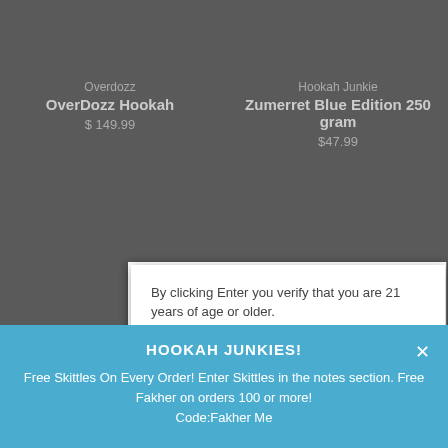[Figure (screenshot): Background of a website showing hookah product listings dimmed behind a modal overlay]
By clicking Enter you verify that you are 21 years of age or older.
ENTER  or  Exit
HOOKAH JUNKIES!
Free Skittles On Every Order! Enter Skittles in the notes section. Free Fakher on orders 100 or more!
Code:Fakher Me